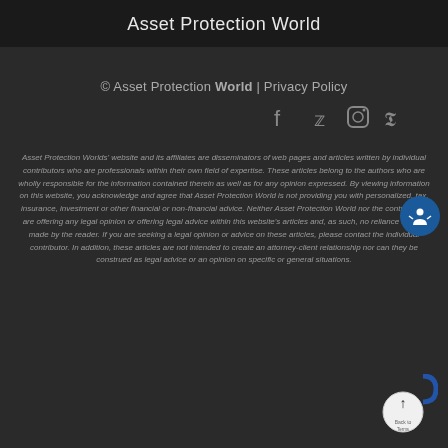Asset Protection World
© Asset Protection World | Privacy Policy
[Figure (other): Social media icons: Facebook, Twitter, Instagram, Pinterest]
Asset Protection Worlds' website and its affiliates are disseminators of web pages and articles written by individual contributors who are professionals within their own field of expertise. These articles belong to the authors who are wholly responsible for the information contained therein as well as for any opinion expressed. By viewing information on this website, you acknowledge and agree that Asset Protection World is not providing you with personalized, tax, insurance, investment or other financial or non-financial advice. Neither Asset Protection World nor the contributors are offering any legal opinion or offering legal advice within this website's articles and, as such, no reliance can be made by the reader. If you are seeking a legal opinion or advice on these articles, please contact the individual contributor. In addition, these articles are not intended to create an attorney-client relationship nor can they be construed as legal advice or an opinion on specific or general situations.